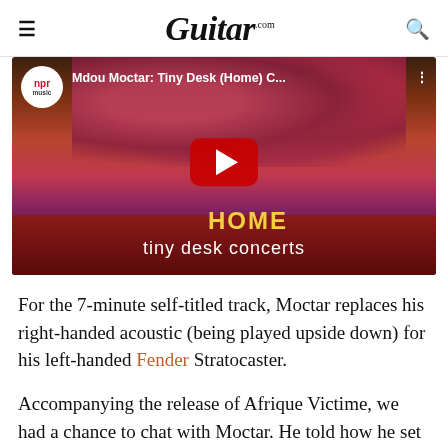Guitar.com
[Figure (screenshot): YouTube video thumbnail for 'Mdou Moctar: Tiny Desk (Home) C...' showing musicians playing guitars against a floral backdrop with NPR music badge, red play button, and 'HOME tiny desk concerts' text overlay]
For the 7-minute self-titled track, Moctar replaces his right-handed acoustic (being played upside down) for his left-handed Fender Stratocaster.
Accompanying the release of Afrique Victime, we had a chance to chat with Moctar. He told how he set